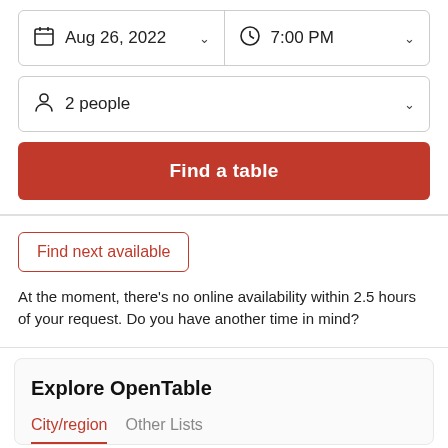Aug 26, 2022
7:00 PM
2 people
Find a table
Find next available
At the moment, there’s no online availability within 2.5 hours of your request. Do you have another time in mind?
Explore OpenTable
City/region	Other Lists